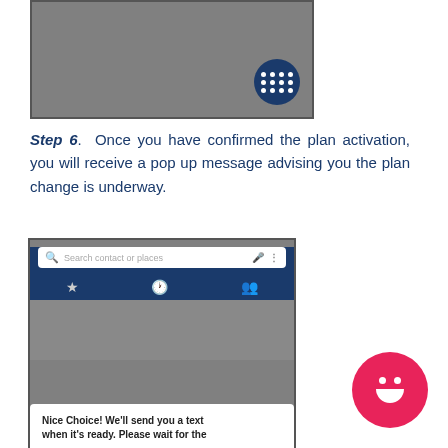[Figure (screenshot): Mobile phone screenshot showing a dark gray screen with a circular grid/apps button in the bottom right corner on a dark navy blue background]
Step 6. Once you have confirmed the plan activation, you will receive a pop up message advising you the plan change is underway.
[Figure (screenshot): Mobile phone screenshot showing a dialer/contacts app with a search bar reading 'Search contact or places', tabs with star, clock, and people icons, and a popup message at the bottom reading 'Nice Choice! We'll send you a text when it's ready. Please wait for the']